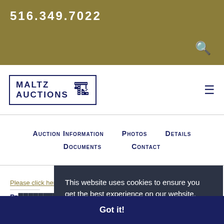516.349.7022
[Figure (logo): Maltz Auctions logo with gavel icon and navy blue border box]
Auction Information  Photos  Details  Documents  Contact
vehicles.
Pl... click here to Register to Bid for the Barkeater Aucti...
This website uses cookies to ensure you get the best experience on our website. Learn more
Pr...
SE...
AND ONLINE BIDDING FORM AND A DEPOSIT ($500 MINIMUM) TO BE APPROVED FOR BIDDING...